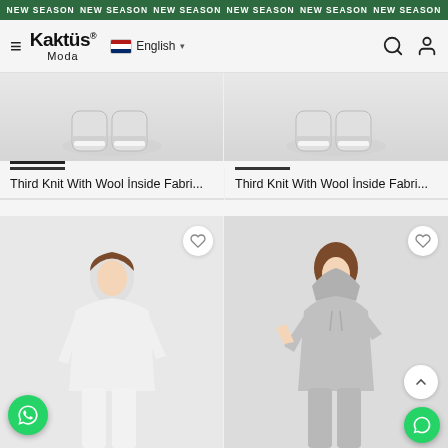NEW SEASON NEW SEASON NEW SEASON NEW SEASON NEW SEASON NEW SEASON
[Figure (screenshot): Kaktüs Moda e-commerce website navigation bar with logo, language selector (English), search and account icons]
[Figure (photo): Product photo top portion showing white sneakers - Third Knit With Wool Inside Fabri...]
[Figure (photo): Product photo top portion showing white sneakers - Third Knit With Wool Inside Fabri...]
Third Knit With Wool İnside Fabri...
Third Knit With Wool İnside Fabri...
[Figure (photo): Female model wearing white hoodie and white pants tracksuit, with WhatsApp button overlay]
[Figure (photo): Female model wearing grey hoodie and grey pants tracksuit, with scroll-to-top and chat button overlays]